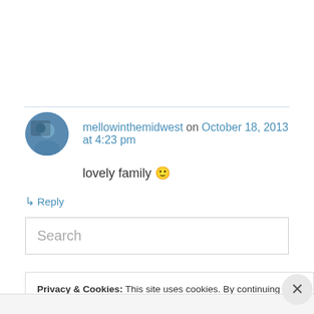mellowinthemidwest on October 18, 2013 at 4:23 pm
lovely family 🙂
↳ Reply
Search
Privacy & Cookies: This site uses cookies. By continuing to use this website, you agree to their use. To find out more, including how to control cookies, see here: Cookie Policy
Close and accept